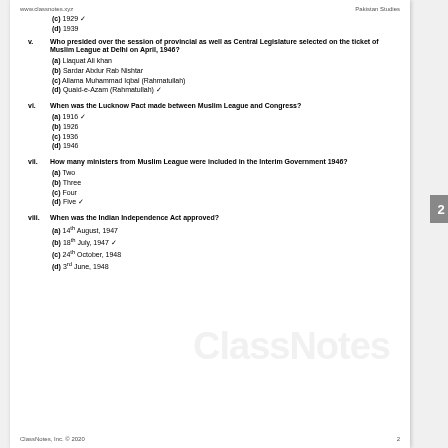www.classnotes.xyz                                                Pakistan Studies
(c) 1929 ✓
(d) 1939
v.   Who presided over the session of provincial as well as Central Legislature selected on the ticket of Muslim League at Delhi on April, 1946?
(a) Liaquat Ali khan
(b) Sardar Abdur Rab Nishtar
(c) Allama Muhammad Iqbal (Rahmatullah)
(d) Quaid-e-Azam (Rahmatullah) ✓
vi.  When was the Lucknow Pact made between Muslim League and Congress?
(a) 1916 ✓
(b) 1926
(c) 1936
(d) 1946
vii. How many ministers from Muslim League were included in the Interim Government 1946?
(a) Two
(b) Three
(c) Four
(d) Five ✓
viii. When was the Indian Independence Act approved?
(a) 14th August, 1947
(b) 18th July, 1947 ✓
(c) 24th October, 1948
(d) 3rd June, 1948
ClassNotes, Inc. © 2020                                                                    2